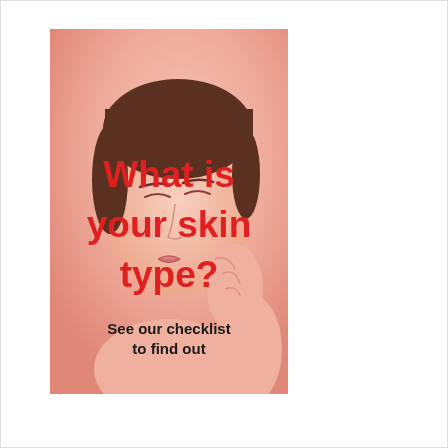[Figure (photo): A woman with eyes closed touching her face gently, with a soft pink/peach toned background. Large red bold text overlaid reads 'What is your skin type?' and smaller black bold text reads 'See our checklist to find out'.]